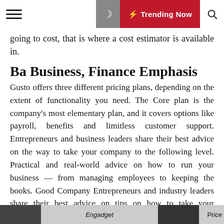Trending Now
going to cost, that is where a cost estimator is available in.
Ba Business, Finance Emphasis
Gusto offers three different pricing plans, depending on the extent of functionality you need. The Core plan is the company's most elementary plan, and it covers options like payroll, benefits and limitless customer support. Entrepreneurs and business leaders share their best advice on the way to take your company to the following level. Practical and real-world advice on how to run your business — from managing employees to keeping the books. Good Company Entrepreneurs and industry leaders share their best advice on tips on how to take your company to the next level. Run Practical and real-world advice on the way to run your small business — from managing workers to keeping the books. Start Everything that you should know to start your personal business
[Figure (photo): Bottom navigation bar with two partial photo thumbnails and article labels]